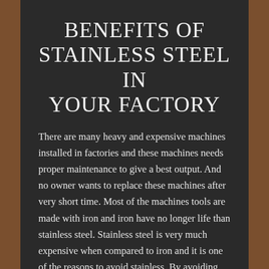BENEFITS OF STAINLESS STEEL IN YOUR FACTORY
There are many heavy and expensive machines installed in factories and these machines needs proper maintenance to give a best output. And no owner wants to replace these machines after very short time. Most of the machines tools are made with iron and iron have no longer life than stainless steel. Stainless steel is very much expensive when compared to iron and it is one of the reasons to avoid stainless. By avoiding stainless steel you are losing lots of benefits. Stainless steel is a big initial investment but gives more return such has increase in the life of project and cost saving in future. It